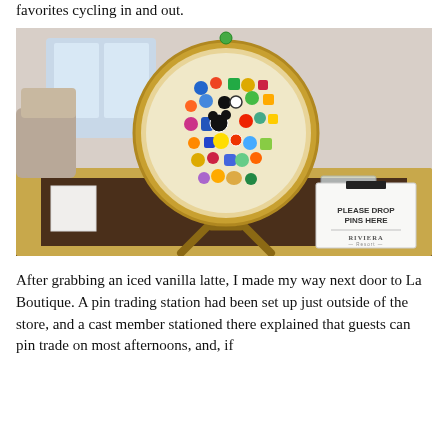favorites cycling in and out.
[Figure (photo): A Disney pin trading station set up on a gold-trimmed cart. A circular gold frame on a wooden easel holds dozens of Disney character pins. To the right is a white box labeled 'PLEASE DROP PINS HERE' with the Disney's Riviera Resort logo. A clear plastic container is also visible on the cart.]
After grabbing an iced vanilla latte, I made my way next door to La Boutique. A pin trading station had been set up just outside of the store, and a cast member stationed there explained that guests can pin trade on most afternoons, and, if